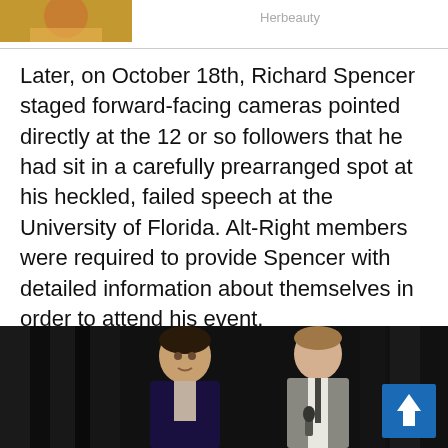[Figure (photo): Partial thumbnail image at top left, appears to show a person in yellow/golden clothing. Caption reads 'Herbeauty'.]
Herbeauty
Later, on October 18th, Richard Spencer staged forward-facing cameras pointed directly at the 12 or so followers that he had sit in a carefully prearranged spot at his heckled, failed speech at the University of Florida. Alt-Right members were required to provide Spencer with detailed information about themselves in order to attend his event.
[Figure (photo): Photo of two men on a dark stage with black curtain background. The man on the left wears a dark suit, the man on the right wears a grey vest and holds a microphone. A blue scroll-to-top button appears in the bottom right corner.]